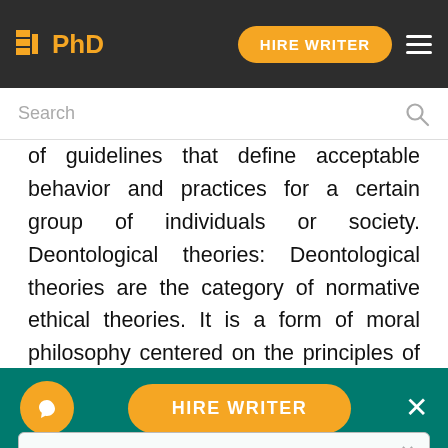PhD | HIRE WRITER
of guidelines that define acceptable behavior and practices for a certain group of individuals or society. Deontological theories: Deontological theories are the category of normative ethical theories. It is a form of moral philosophy centered on the principles of eighteenth century philosopher Immanuel Kant. Its name comes from the Greek words Deon and logos, meaning the study of duty.
We use cookies to give you the best experience possible. By continuing we'll assume you're on board with our cookie policy
Order custom essay Ethical Theories with free plagiarism report
HIRE WRITER